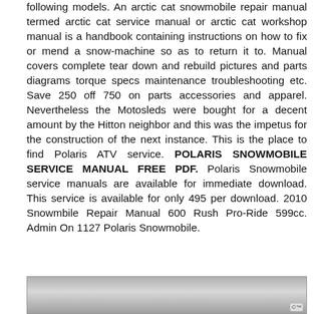following models. An arctic cat snowmobile repair manual termed arctic cat service manual or arctic cat workshop manual is a handbook containing instructions on how to fix or mend a snow-machine so as to return it to. Manual covers complete tear down and rebuild pictures and parts diagrams torque specs maintenance troubleshooting etc. Save 250 off 750 on parts accessories and apparel. Nevertheless the Motosleds were bought for a decent amount by the Hitton neighbor and this was the impetus for the construction of the next instance. This is the place to find Polaris ATV service. POLARIS SNOWMOBILE SERVICE MANUAL FREE PDF. Polaris Snowmobile service manuals are available for immediate download. This service is available for only 495 per download. 2010 Snowmbile Repair Manual 600 Rush Pro-Ride 599cc. Admin On 1127 Polaris Snowmobile.
[Figure (photo): Partial view of a snowmobile or related outdoor/snow scene photograph, cropped at the bottom of the page.]